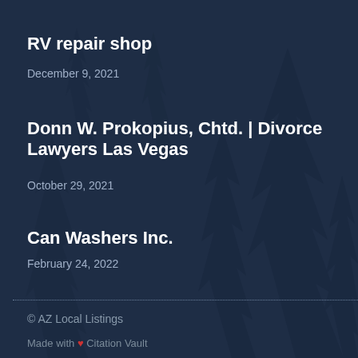RV repair shop
December 9, 2021
Donn W. Prokopius, Chtd. | Divorce Lawyers Las Vegas
October 29, 2021
Can Washers Inc.
February 24, 2022
© AZ Local Listings
Made with ❤ Citation Vault